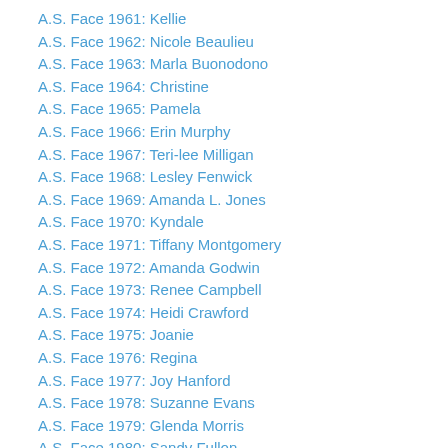A.S. Face 1961: Kellie
A.S. Face 1962: Nicole Beaulieu
A.S. Face 1963: Marla Buonodono
A.S. Face 1964: Christine
A.S. Face 1965: Pamela
A.S. Face 1966: Erin Murphy
A.S. Face 1967: Teri-lee Milligan
A.S. Face 1968: Lesley Fenwick
A.S. Face 1969: Amanda L. Jones
A.S. Face 1970: Kyndale
A.S. Face 1971: Tiffany Montgomery
A.S. Face 1972: Amanda Godwin
A.S. Face 1973: Renee Campbell
A.S. Face 1974: Heidi Crawford
A.S. Face 1975: Joanie
A.S. Face 1976: Regina
A.S. Face 1977: Joy Hanford
A.S. Face 1978: Suzanne Evans
A.S. Face 1979: Glenda Morris
A.S. Face 1980: Sandy Fullon